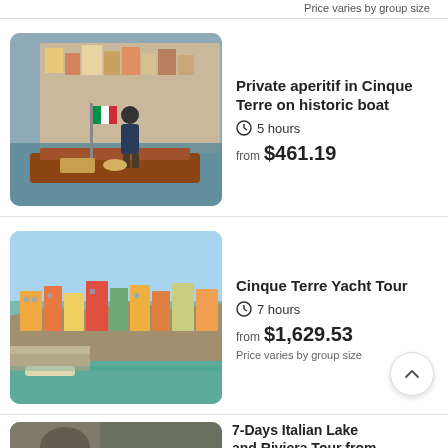Price varies by group size
[Figure (photo): Man standing on a traditional wooden boat with Italian flag, colorful Cinque Terre village buildings on cliffs in background]
Private aperitif in Cinque Terre on historic boat
5 hours
from $461.19
[Figure (photo): Colorful buildings of Cinque Terre village perched on rocky cliffs above turquoise water]
Cinque Terre Yacht Tour
7 hours
from $1,629.53
Price varies by group size
[Figure (photo): Partial view of archway with Likely to Sell Out badge]
7-Days Italian Lake and Riviera Tour from